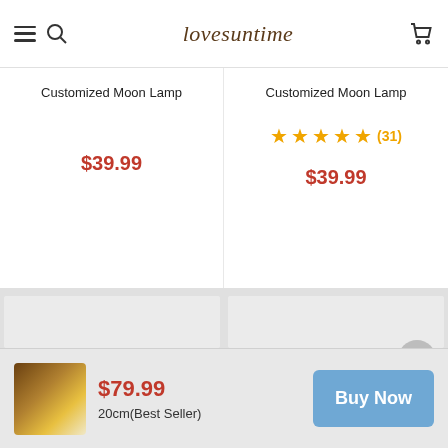lovesuntime
Customized Moon Lamp
$39.99
Customized Moon Lamp
★★★★★ (31)
$39.99
[Figure (photo): Product image card left — gray placeholder]
[Figure (photo): Product image card right — gray placeholder with share and scroll-to-top action buttons]
$79.99
20cm(Best Seller)
Buy Now